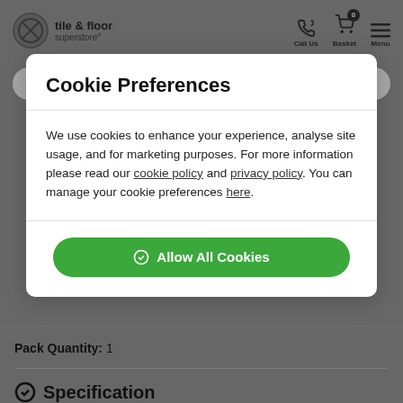[Figure (screenshot): Tile & Floor Superstore website header with logo, Call Us, Basket (0), and Menu icons]
Search by name, code, or brand...
Cookie Preferences
We use cookies to enhance your experience, analyse site usage, and for marketing purposes. For more information please read our cookie policy and privacy policy. You can manage your cookie preferences here.
Allow All Cookies
Pack Quantity: 1
Specification